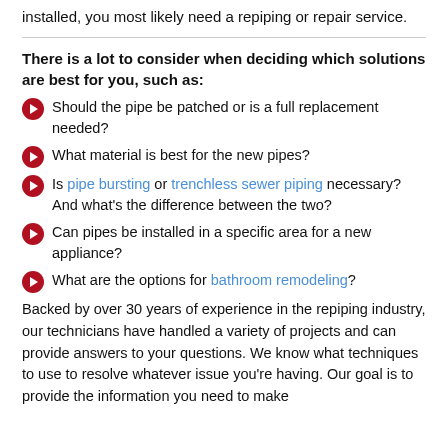installed, you most likely need a repiping or repair service.
There is a lot to consider when deciding which solutions are best for you, such as:
Should the pipe be patched or is a full replacement needed?
What material is best for the new pipes?
Is pipe bursting or trenchless sewer piping necessary? And what's the difference between the two?
Can pipes be installed in a specific area for a new appliance?
What are the options for bathroom remodeling?
Backed by over 30 years of experience in the repiping industry, our technicians have handled a variety of projects and can provide answers to your questions. We know what techniques to use to resolve whatever issue you're having. Our goal is to provide the information you need to make